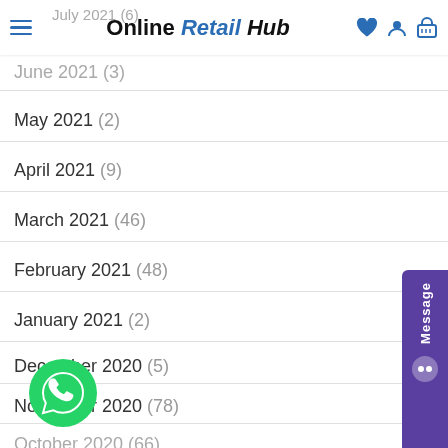Online Retail Hub — navigation header with hamburger menu, logo, heart, user, and cart icons
July 2021 (6)
June 2021 (3)
May 2021 (2)
April 2021 (9)
March 2021 (46)
February 2021 (48)
January 2021 (2)
December 2020 (5)
November 2020 (78)
October 2020 (66)
September 2020 (22)
August 2020 (48)